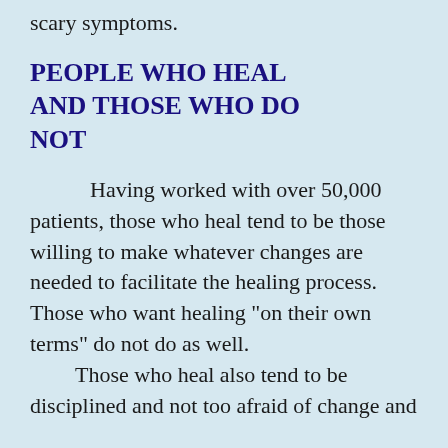scary symptoms.
PEOPLE WHO HEAL AND THOSE WHO DO NOT
Having worked with over 50,000 patients, those who heal tend to be those willing to make whatever changes are needed to facilitate the healing process.  Those who want healing "on their own terms" do not do as well.
Those who heal also tend to be disciplined and not too afraid of change and healing continues. The